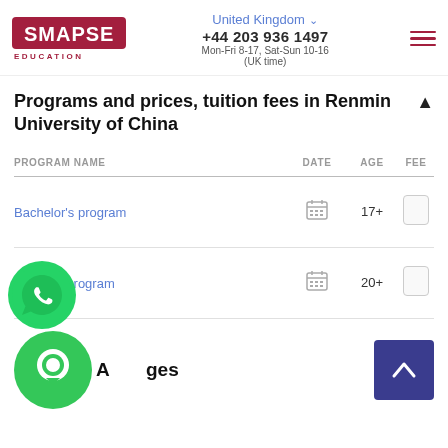SMAPSE EDUCATION | United Kingdom | +44 203 936 1497 | Mon-Fri 8-17, Sat-Sun 10-16 (UK time)
Programs and prices, tuition fees in Renmin University of China
| PROGRAM NAME | DATE | AGE | FEE |
| --- | --- | --- | --- |
| Bachelor's program | [calendar] | 17+ |  |
| Master's program | [calendar] | 20+ |  |
[Figure (illustration): WhatsApp floating button icon (green circle with phone handset)]
Advantages
[Figure (illustration): Chat/messenger floating button icon (green circle with chat bubble)]
[Figure (illustration): Scroll to top button (dark blue square with up arrow)]